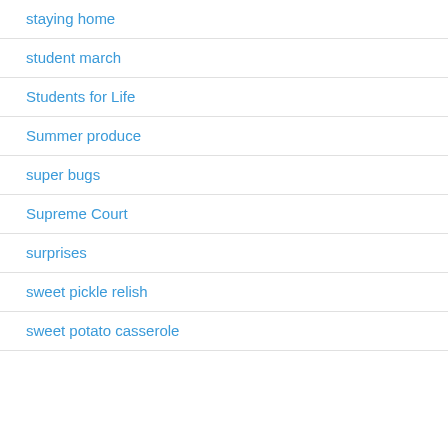staying home
student march
Students for Life
Summer produce
super bugs
Supreme Court
surprises
sweet pickle relish
sweet potato casserole